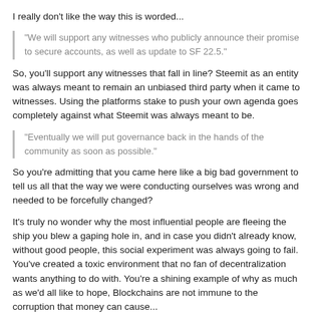I really don't like the way this is worded...
"We will support any witnesses who publicly announce their promise to secure accounts, as well as update to SF 22.5."
So, you'll support any witnesses that fall in line? Steemit as an entity was always meant to remain an unbiased third party when it came to witnesses. Using the platforms stake to push your own agenda goes completely against what Steemit was always meant to be.
"Eventually we will put governance back in the hands of the community as soon as possible."
So you're admitting that you came here like a big bad government to tell us all that the way we were conducting ourselves was wrong and needed to be forcefully changed?
It's truly no wonder why the most influential people are fleeing the ship you blew a gaping hole in, and in case you didn't already know, without good people, this social experiment was always going to fail. You've created a toxic environment that no fan of decentralization wants anything to do with. You're a shining example of why as much as we'd all like to hope, Blockchains are not immune to the corruption that money can cause...
You should truly be ashamed of yourself, but with all the money you stand to